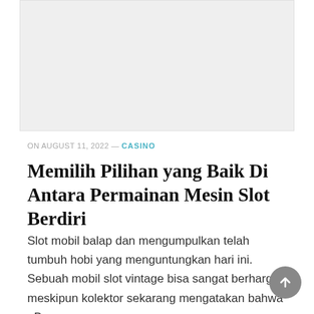[Figure (other): Gray placeholder image at the top of the article]
ON AUGUST 11, 2022 — CASINO
Memilih Pilihan yang Baik Di Antara Permainan Mesin Slot Berdiri
Slot mobil balap dan mengumpulkan telah tumbuh hobi yang menguntungkan hari ini. Sebuah mobil slot vintage bisa sangat berharga, meskipun kolektor sekarang mengatakan bahwa eBay …